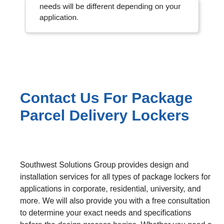needs will be different depending on your application.
Contact Us For Package Parcel Delivery Lockers
Southwest Solutions Group provides design and installation services for all types of package lockers for applications in corporate, residential, university, and more. We will also provide you with a free consultation to determine your exact needs and specifications before the design process begins. Whether you need a mailbox, electronic parcel locker or smart locker for postal service or residential use, we got you covered. To learn more or to speak with a specialist, call us at 1-866-328-